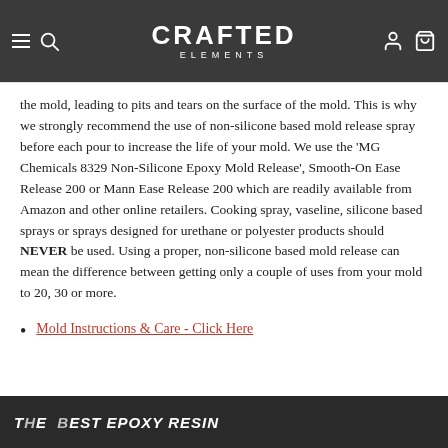CRAFTED ELEMENTS
the mold, leading to pits and tears on the surface of the mold. This is why we strongly recommend the use of non-silicone based mold release spray before each pour to increase the life of your mold. We use the 'MG Chemicals 8329 Non-Silicone Epoxy Mold Release', Smooth-On Ease Release 200 or Mann Ease Release 200 which are readily available from Amazon and other online retailers. Cooking spray, vaseline, silicone based sprays or sprays designed for urethane or polyester products should NEVER be used. Using a proper, non-silicone based mold release can mean the difference between getting only a couple of uses from your mold to 20, 30 or more.
Mold Instructions & Care - Click Here
[Figure (screenshot): Bottom banner image with bold italic white text reading 'THE BEST EPOXY RESIN' on a dark background with partial image visible on the right]